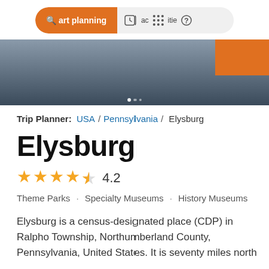[Figure (screenshot): Website navigation bar with orange 'Start planning' button and icons for saved places and activities]
[Figure (photo): Partial photo strip showing a dark blurred background with orange block in upper right corner and dot navigation indicators]
Trip Planner: USA / Pennsylvania / Elysburg
Elysburg
4.2 stars rating
Theme Parks · Specialty Museums · History Museums
Elysburg is a census-designated place (CDP) in Ralpho Township, Northumberland County, Pennsylvania, United States. It is seventy miles north
more ∨